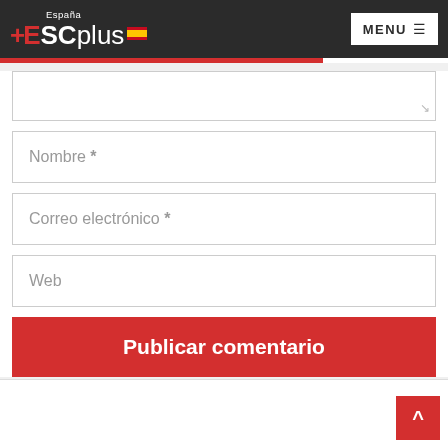ESCplus España — MENU
Nombre *
Correo electrónico *
Web
Publicar comentario